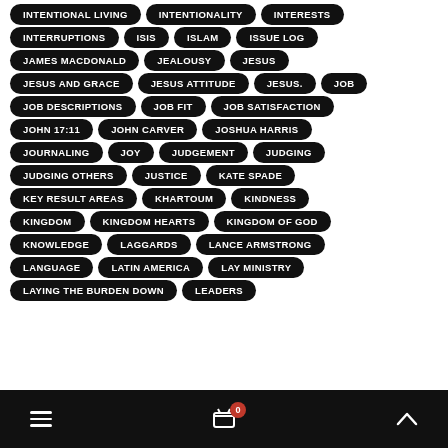INTENTIONAL LIVING
INTENTIONALITY
INTERESTS
INTERRUPTIONS
ISIS
ISLAM
ISSUE LOG
JAMES MACDONALD
JEALOUSY
JESUS
JESUS AND GRACE
JESUS ATTITUDE
JESUS.
JOB
JOB DESCRIPTIONS
JOB FIT
JOB SATISFACTION
JOHN 17:11
JOHN CARVER
JOSHUA HARRIS
JOURNALING
JOY
JUDGEMENT
JUDGING
JUDGING OTHERS
JUSTICE
KATE SPADE
KEY RESULT AREAS
KHARTOUM
KINDNESS
KINGDOM
KINGDOM HEARTS
KINGDOM OF GOD
KNOWLEDGE
LAGGARDS
LANCE ARMSTRONG
LANGUAGE
LATIN AMERICA
LAY MINISTRY
LAYING THE BURDEN DOWN
LEADERS
≡  🛒 0  ∧